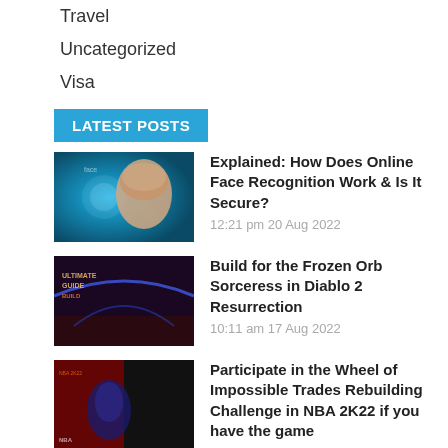Travel
Uncategorized
Visa
LATEST POSTS
Explained: How Does Online Face Recognition Work & Is It Secure?
12:21 pm 20 Aug 2022
Build for the Frozen Orb Sorceress in Diablo 2 Resurrection
10:11 am 17 Aug 2022
Participate in the Wheel of Impossible Trades Rebuilding Challenge in NBA 2K22 if you have the game
8:55 am 17 Aug 2022